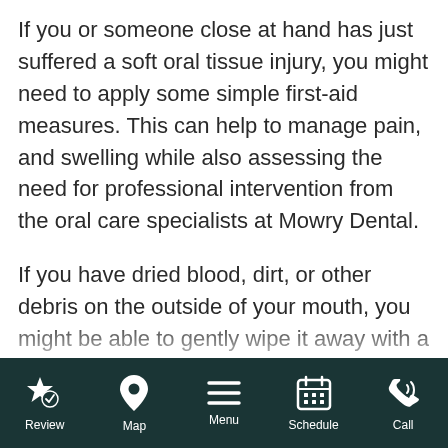If you or someone close at hand has just suffered a soft oral tissue injury, you might need to apply some simple first-aid measures. This can help to manage pain, and swelling while also assessing the need for professional intervention from the oral care specialists at Mowry Dental.
If you have dried blood, dirt, or other debris on the outside of your mouth, you might be able to gently wipe it away with a warm, wet washcloth. This can help you get a better view any traumatized soft tissues on the lip or
Review | Map | Menu | Schedule | Call